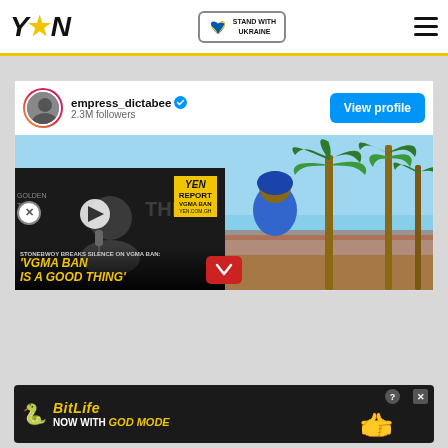YEN - Stand with Ukraine
[Figure (screenshot): Instagram embed card showing empress_dictabee profile with 2.3M followers, View profile button, and a photo of a person near palm trees with a video overlay of YEN Report about Stonebwoy VGMA ban]
[Figure (screenshot): Bottom advertisement banner for BitLife game - Now with GOD MODE]